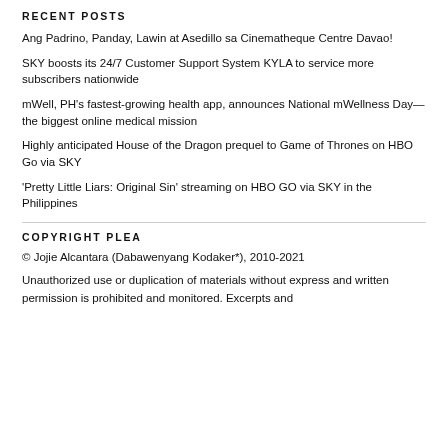RECENT POSTS
Ang Padrino, Panday, Lawin at Asedillo sa Cinematheque Centre Davao!
SKY boosts its 24/7 Customer Support System KYLA to service more subscribers nationwide
mWell, PH's fastest-growing health app, announces National mWellness Day— the biggest online medical mission
Highly anticipated House of the Dragon prequel to Game of Thrones on HBO Go via SKY
'Pretty Little Liars: Original Sin' streaming on HBO GO via SKY in the Philippines
COPYRIGHT PLEA
© Jojie Alcantara (Dabawenyang Kodaker*), 2010-2021
Unauthorized use or duplication of materials without express and written permission is prohibited and monitored. Excerpts and